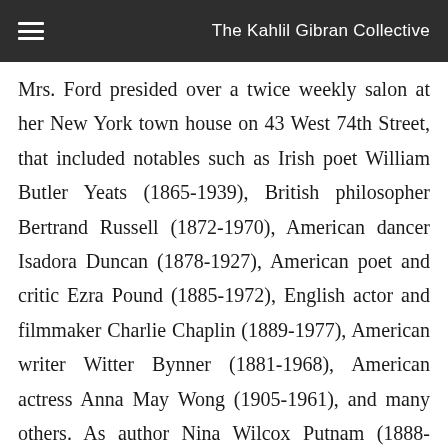The Kahlil Gibran Collective
Mrs. Ford presided over a twice weekly salon at her New York town house on 43 West 74th Street, that included notables such as Irish poet William Butler Yeats (1865-1939), British philosopher Bertrand Russell (1872-1970), American dancer Isadora Duncan (1878-1927), American poet and critic Ezra Pound (1885-1972), English actor and filmmaker Charlie Chaplin (1889-1977), American writer Witter Bynner (1881-1968), American actress Anna May Wong (1905-1961), and many others. As author Nina Wilcox Putnam (1888-1962) described her, in a less alluring tone than Gibran's, "Mrs. Ford collected celebrities